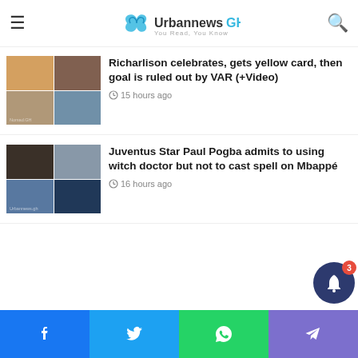Urbannews GH — You Read, You Know
investigate VAR calls at Chelsea, Newcastle games
[Figure (photo): Richarlison celebrating a goal with teammates, football match scene]
Richarlison celebrates, gets yellow card, then goal is ruled out by VAR (+Video)
15 hours ago
[Figure (photo): Paul Pogba and witch doctor scene collage]
Juventus Star Paul Pogba admits to using witch doctor but not to cast spell on Mbappé
16 hours ago